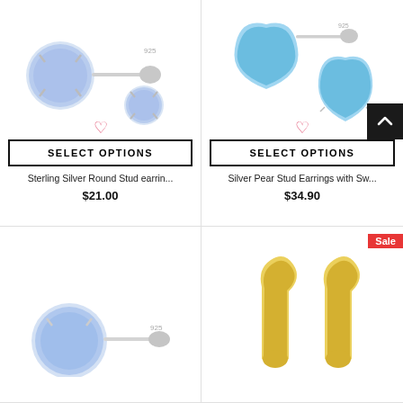[Figure (photo): Sterling Silver Round Stud earrings with light blue opal crystal, shown from two angles]
[Figure (photo): Silver Pear Stud Earrings with Swarovski crystal in aqua blue, shown from two angles]
SELECT OPTIONS
SELECT OPTIONS
Sterling Silver Round Stud earrin...
Silver Pear Stud Earrings with Sw...
$21.00
$34.90
[Figure (photo): Sterling silver round stud earrings with light blue crystal, partial view at bottom]
[Figure (photo): Gold lever-back earrings, partial view at bottom, with Sale badge]